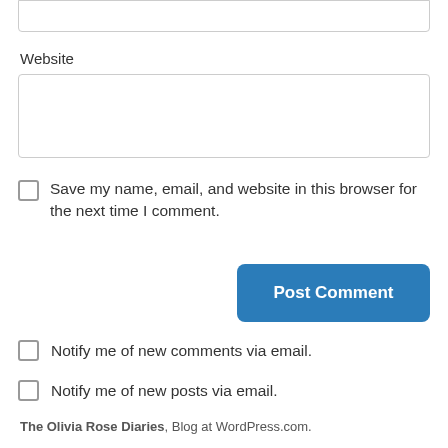Website
Save my name, email, and website in this browser for the next time I comment.
Post Comment
Notify me of new comments via email.
Notify me of new posts via email.
The Olivia Rose Diaries, Blog at WordPress.com.